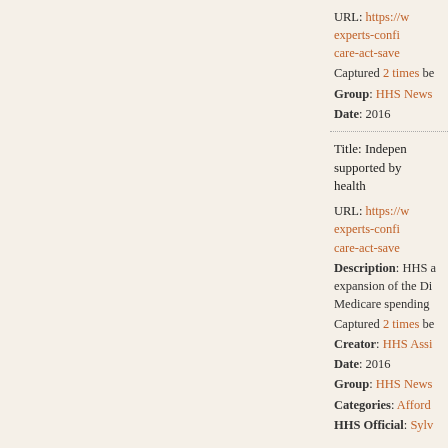URL: https://w...experts-confi...care-act-save... Captured 2 times be... Group: HHS News... Date: 2016
Title: Independent...supported by...health URL: https://w...experts-confi...care-act-save... Description: HHS a...expansion of the Di...Medicare spending... Captured 2 times be... Creator: HHS Assi... Date: 2016 Group: HHS News... Categories: Afford... HHS Official: Sylv...